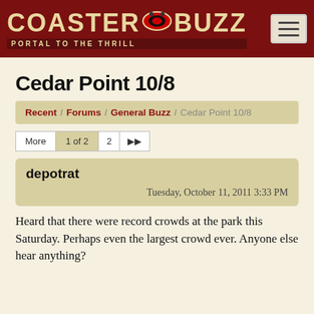COASTER BUZZ - PORTAL TO THE THRILL
Cedar Point 10/8
Recent / Forums / General Buzz / Cedar Point 10/8
More  1 of 2  2  ▶▶
depotrat
Tuesday, October 11, 2011 3:33 PM
Heard that there were record crowds at the park this Saturday. Perhaps even the largest crowd ever. Anyone else hear anything?